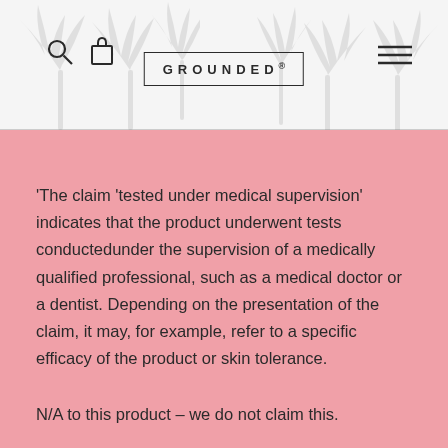GROUNDED
'The claim 'tested under medical supervision' indicates that the product underwent tests conductedunder the supervision of a medically qualified professional, such as a medical doctor or a dentist. Depending on the presentation of the claim, it may, for example, refer to a specific efficacy of the product or skin tolerance.
N/A to this product – we do not claim this.